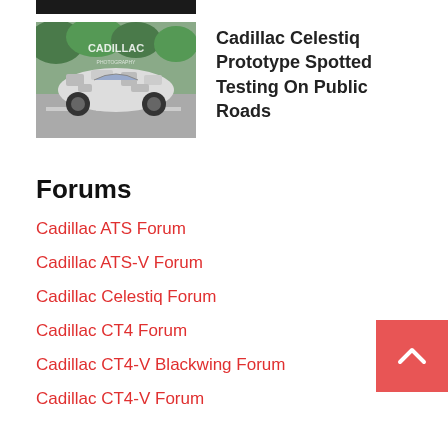[Figure (photo): Dark cropped top portion of a previous article image (partially visible at top)]
[Figure (photo): Cadillac Celestiq prototype car spotted testing on public roads, camouflaged white vehicle with Cadillac watermark overlay]
Cadillac Celestiq Prototype Spotted Testing On Public Roads
Forums
Cadillac ATS Forum
Cadillac ATS-V Forum
Cadillac Celestiq Forum
Cadillac CT4 Forum
Cadillac CT4-V Blackwing Forum
Cadillac CT4-V Forum